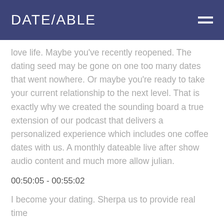DATE/ABLE
love life. Maybe you've recently reopened. The dating seed may be gone on one too many dates that went nowhere. Or maybe you're ready to take your current relationship to the next level. That is exactly why we created the sounding board a true extension of our podcast that delivers a personalized experience which includes one coffee dates with us. A monthly dateable live after show audio content and much more allow julian.
00:50:05 - 00:55:02
I become your dating. Sherpa us to provide real time